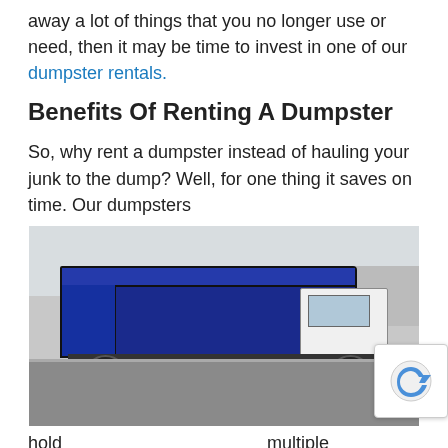away a lot of things that you no longer use or need, then it may be time to invest in one of our dumpster rentals.
Benefits Of Renting A Dumpster
So, why rent a dumpster instead of hauling your junk to the dump? Well, for one thing it saves on time. Our dumpsters
[Figure (photo): A large blue roll-off dumpster container mounted on a white truck, photographed from the rear-left angle in a parking lot.]
hold multiple truck loads worth of items, so you are saving yourself countless back and forth trips. Not to mention, all the driving puts a lot of wear on your vehicle!